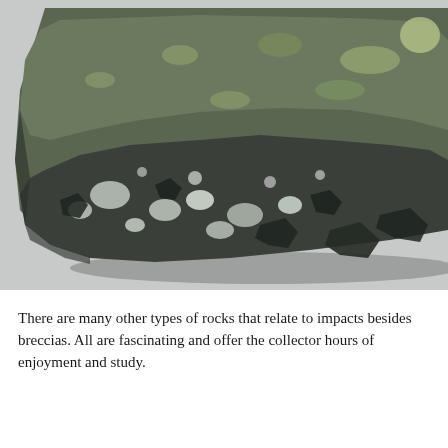[Figure (photo): Close-up photograph of a dark gray and greenish impact breccia rock specimen showing angular fragments and clasts embedded in a fine-grained matrix, photographed against a light gray background.]
There are many other types of rocks that relate to impacts besides breccias. All are fascinating and offer the collector hours of enjoyment and study.